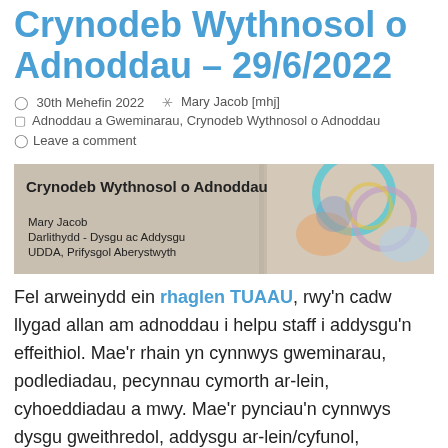Crynodeb Wythnosol o Adnoddau – 29/6/2022
30th Mehefin 2022   Mary Jacob [mhj]
Adnoddau a Gweminarau, Crynodeb Wythnosol o Adnoddau
Leave a comment
[Figure (illustration): Banner image with text 'Crynodeb Wythnosol o Adnoddau', Mary Jacob, Darlithydd - Dysgu ac Addysgu, UDDA, Prifysgol Aberystwyth, with abstract colourful circular shapes on right side.]
Fel arweinydd ein rhaglen TUAAU, rwy'n cadw llygad allan am adnoddau i helpu staff i addysgu'n effeithiol. Mae'r rhain yn cynnwys gweminarau, podlediadau, pecynnau cymorth ar-lein, cyhoeddiadau a mwy. Mae'r pynciau'n cynnwys dysgu gweithredol, addysgu ar-lein/cyfunol,